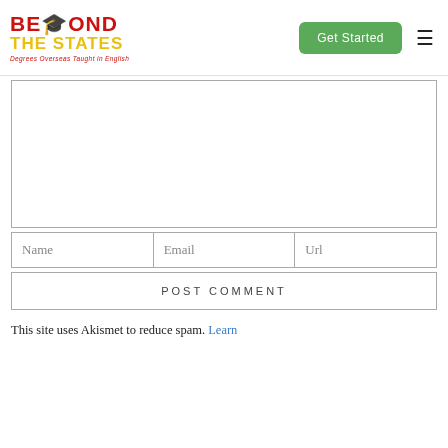[Figure (logo): Beyond The States logo — red and yellow text with graduation cap icon, tagline 'Degrees Overseas Taught in English']
[Figure (other): Green 'Get Started' button and hamburger menu icon in page header]
[Figure (other): Comment text area input box (empty)]
[Figure (other): Three input fields in a row: Name, Email, Url]
[Figure (other): POST COMMENT button]
This site uses Akismet to reduce spam. Learn